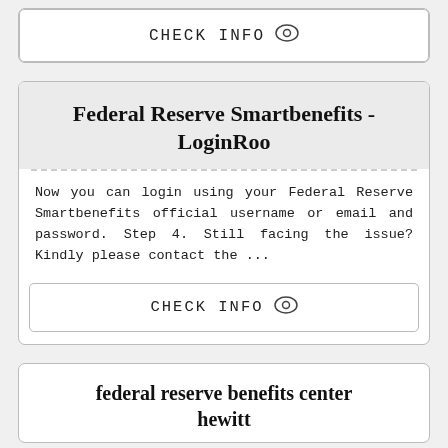CHECK INFO
Federal Reserve Smartbenefits - LoginRoo
Now you can login using your Federal Reserve Smartbenefits official username or email and password. Step 4. Still facing the issue? Kindly please contact the ...
CHECK INFO
federal reserve benefits center hewitt